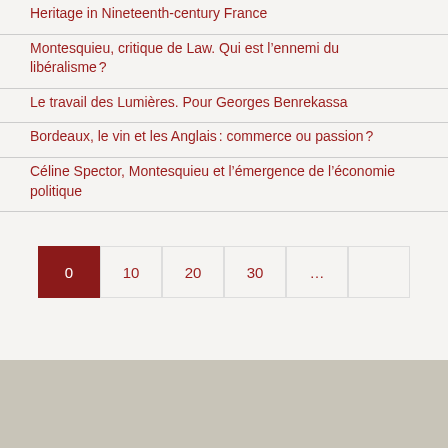Heritage in Nineteenth-century France
Montesquieu, critique de Law. Qui est l’ennemi du libéralisme ?
Le travail des Lumières. Pour Georges Benrekassa
Bordeaux, le vin et les Anglais : commerce ou passion ?
Céline Spector, Montesquieu et l’émergence de l’économie politique
0  10  20  30  ...